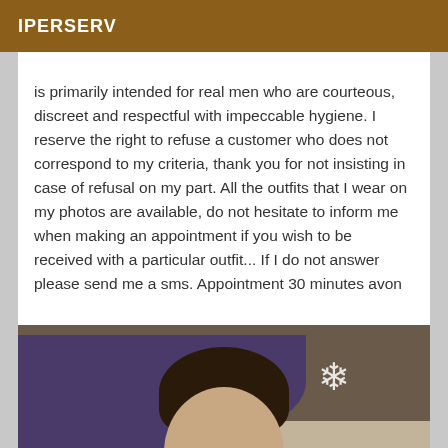IPERSERV
is primarily intended for real men who are courteous, discreet and respectful with impeccable hygiene. I reserve the right to refuse a customer who does not correspond to my criteria, thank you for not insisting in case of refusal on my part. All the outfits that I wear on my photos are available, do not hesitate to inform me when making an appointment if you wish to be received with a particular outfit... If I do not answer please send me a sms. Appointment 30 minutes avon
[Figure (photo): Selfie photo of a woman with dark hair wearing a dark blue top, taken from above at an angle. A decorative snowflake ornament is visible in the background on the floor.]